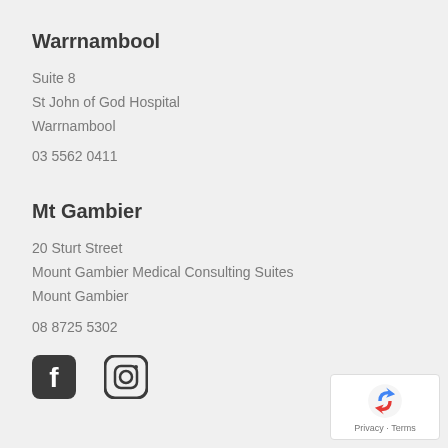Warrnambool
Suite 8
St John of God Hospital
Warrnambool
03 5562 0411
Mt Gambier
20 Sturt Street
Mount Gambier Medical Consulting Suites
Mount Gambier
08 8725 5302
[Figure (other): Social media icons: Facebook and Instagram]
[Figure (other): reCAPTCHA badge with Privacy and Terms links]